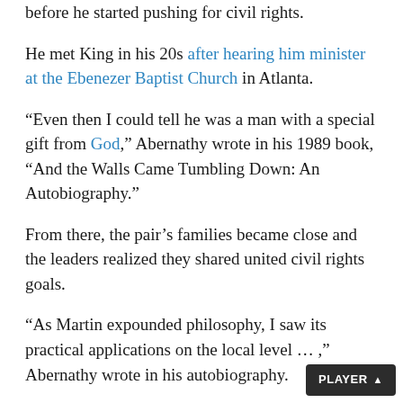before he started pushing for civil rights.
He met King in his 20s after hearing him minister at the Ebenezer Baptist Church in Atlanta.
“Even then I could tell he was a man with a special gift from God,” Abernathy wrote in his 1989 book, “And the Walls Came Tumbling Down: An Autobiography.”
From there, the pair’s families became close and the leaders realized they shared united civil rights goals.
“As Martin expounded philosophy, I saw its practical applications on the local level … ,” Abernathy wrote in his autobiography.
Throughout Abernathy’s life, he cared deeply about the Civil Rights Movement. Brooks, who has worked for decades on the Moore’s Ford Movement.